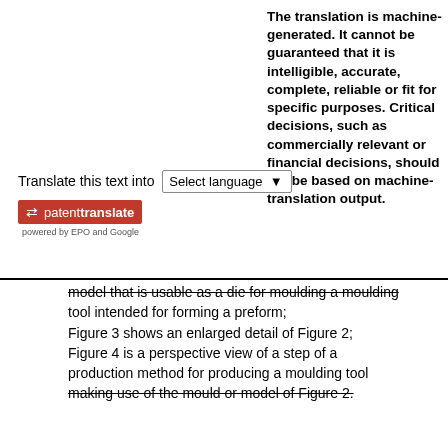The translation is machine-generated. It cannot be guaranteed that it is intelligible, accurate, complete, reliable or fit for specific purposes. Critical decisions, such as commercially relevant or financial decisions, should not be based on machine-translation output.
Translate this text into [Select language]
[Figure (logo): patenttranslate logo — red box with arrow icon, text 'patenttranslate', below: 'powered by EPO and Google']
model that is usable as a die for moulding a moulding tool intended for forming a preform; Figure 3 shows an enlarged detail of Figure 2; Figure 4 is a perspective view of a step of a production method for producing a moulding tool making use of the mould or model of Figure 2.